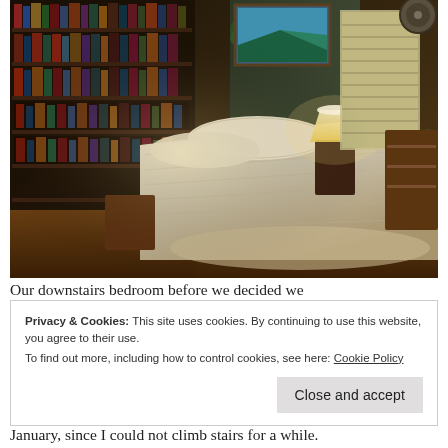[Figure (photo): A cozy bedroom with a large bed covered in a textured white/cream bedspread, surrounded by floor-to-ceiling bookshelves filled with books, a lamp on a nightstand, a window with blinds, plants, and various decorative items on a wooden dresser.]
Our downstairs bedroom before we decided we
Privacy & Cookies: This site uses cookies. By continuing to use this website, you agree to their use.
To find out more, including how to control cookies, see here: Cookie Policy
Close and accept
January, since I could not climb stairs for a while.